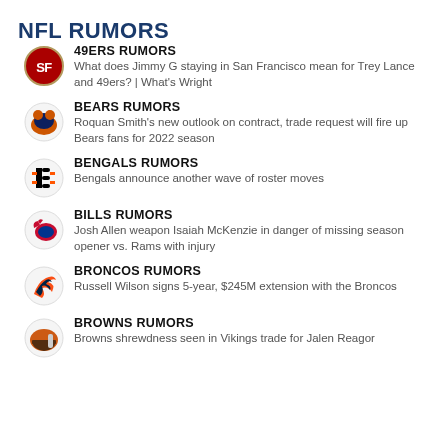NFL RUMORS
49ERS RUMORS
What does Jimmy G staying in San Francisco mean for Trey Lance and 49ers? | What's Wright
BEARS RUMORS
Roquan Smith's new outlook on contract, trade request will fire up Bears fans for 2022 season
BENGALS RUMORS
Bengals announce another wave of roster moves
BILLS RUMORS
Josh Allen weapon Isaiah McKenzie in danger of missing season opener vs. Rams with injury
BRONCOS RUMORS
Russell Wilson signs 5-year, $245M extension with the Broncos
BROWNS RUMORS
Browns shrewdness seen in Vikings trade for Jalen Reagor